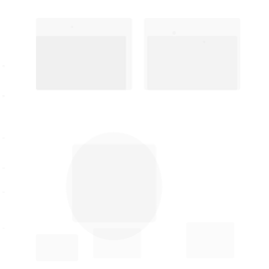[Figure (photo): Mostly blank/white page with very faint, barely visible watermark-like imagery scattered across the page. The content is extremely light and washed out, appearing as ghosted or faded images against a white background. No legible text or clear figures are discernible.]